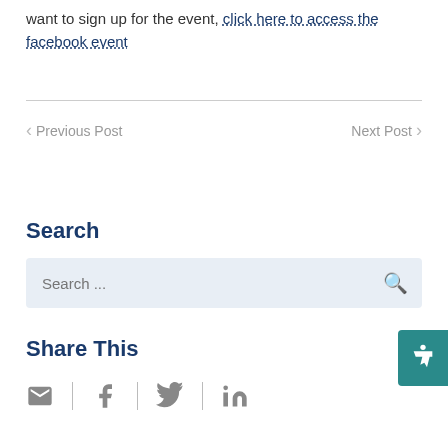want to sign up for the event, click here to access the facebook event
< Previous Post    Next Post >
Search
Search ...
Share This
[Figure (infographic): Social share icons: email, facebook, twitter, linkedin]